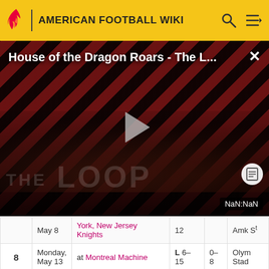AMERICAN FOOTBALL WIKI
[Figure (screenshot): Video thumbnail for 'House of the Dragon Roars - The L...' with diagonal red/black striped background, play button, persons silhouetted, THE LOOP text, NaN:NaN time indicator, and close button.]
| # | Date | Opponent | Result | Record | Stadium |
| --- | --- | --- | --- | --- | --- |
|  | May 8 | York, New Jersey Knights | 12 |  | Amk St |
| 8 | Monday, May 13 | at Montreal Machine | L 6-15 | 0-8 | Olym Stad |
| 9 | Monday, | Orlando | L 14- | 0-9 | Cart |